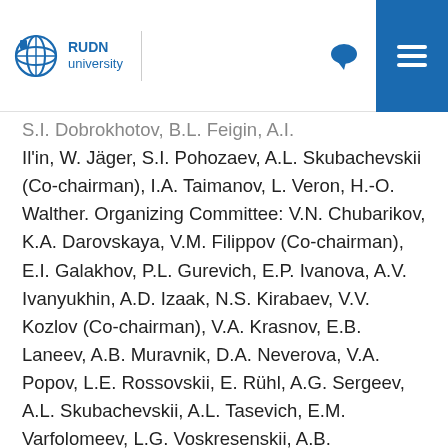RUDN university
S.I. Dobrokhotov, B.L. Feigin, A.I. Il'in, W. Jäger, S.I. Pohozaev, A.L. Skubachevskii (Co-chairman), I.A. Taimanov, L. Veron, H.-O. Walther. Organizing Committee: V.N. Chubarikov, K.A. Darovskaya, V.M. Filippov (Co-chairman), E.I. Galakhov, P.L. Gurevich, E.P. Ivanova, A.V. Ivanyukhin, A.D. Izaak, N.S. Kirabaev, V.V. Kozlov (Co-chairman), V.A. Krasnov, E.B. Laneev, A.B. Muravnik, D.A. Neverova, V.A. Popov, L.E. Rossovskii, E. Rühl, A.G. Sergeev, A.L. Skubachevskii, A.L. Tasevich, E.M. Varfolomeev, L.G. Voskresenskii, A.B. Zhizhchenko, N.B. Zhuravlev. Confirmed List of 45-minute Invited Lecturers: O.N. Ageev, Lomonosov Moscow State University, Russia; S. Brendle,